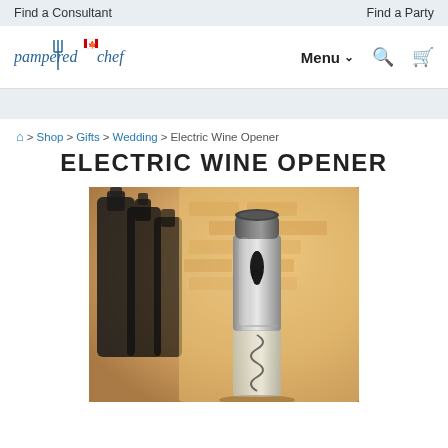Find a Consultant   Find a Party
[Figure (logo): Pampered Chef Canada logo with fork icon and Canadian flag]
Menu  ∨
breadcrumb: Home > Shop > Gifts > Wedding > Electric Wine Opener
ELECTRIC WINE OPENER
[Figure (photo): Electric wine opener - a stainless steel cylindrical electric wine opener with a corkscrew at the bottom, photographed against a blurred background of dark wine bottles and a brick wall]